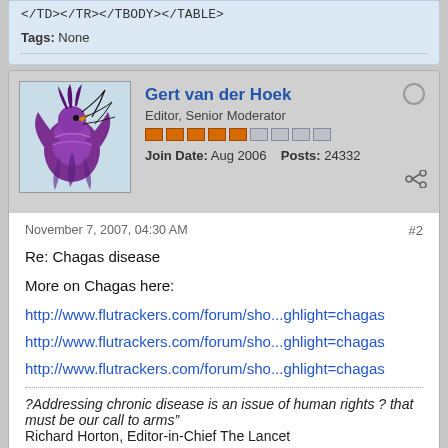</TD></TR></TBODY></TABLE>
Tags: None
Gert van der Hoek
Editor, Senior Moderator
Join Date: Aug 2006  Posts: 24332
November 7, 2007, 04:30 AM
#2
Re: Chagas disease
More on Chagas here:
http://www.flutrackers.com/forum/sho...ghlight=chagas
http://www.flutrackers.com/forum/sho...ghlight=chagas
http://www.flutrackers.com/forum/sho...ghlight=chagas
?Addressing chronic disease is an issue of human rights ? that must be our call to arms"
Richard Horton, Editor-in-Chief The Lancet